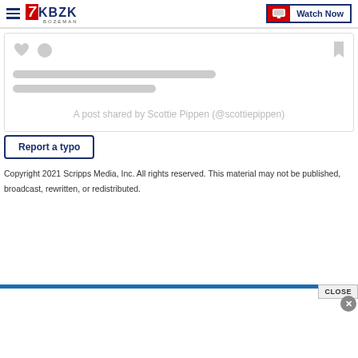KBZK BOZEMAN — Watch Now
[Figure (screenshot): Instagram embed placeholder card with heart icon, comment icon, bookmark icon, two gray loading bars, and caption text 'A post shared by Scottie Pippen (@scottiepippen)']
A post shared by Scottie Pippen (@scottiepippen)
Report a typo
Copyright 2021 Scripps Media, Inc. All rights reserved. This material may not be published, broadcast, rewritten, or redistributed.
[Figure (screenshot): Bottom advertisement bar with blue top border, CLOSE button, and white ad space with X close button]